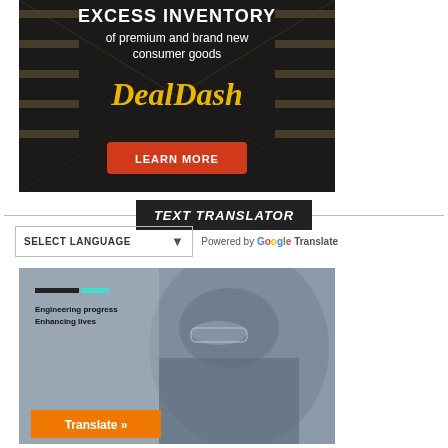[Figure (illustration): DealDash advertisement showing warehouse background with text 'EXCESS INVENTORY of premium and brand new consumer goods DealDash LEARN MORE' button]
TEXT TRANSLATOR
[Figure (screenshot): Google Translate widget with SELECT LANGUAGE dropdown and 'Powered by Google Translate' label]
[Figure (photo): Advertisement showing person with safety goggles, text 'Engineering progress Enhancing lives' with progress bars, and orange 'Translate »' button]